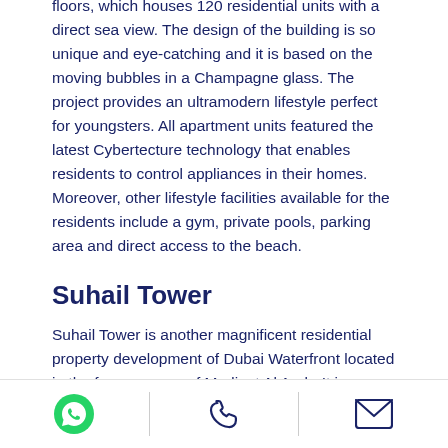floors, which houses 120 residential units with a direct sea view. The design of the building is so unique and eye-catching and it is based on the moving bubbles in a Champagne glass. The project provides an ultramodern lifestyle perfect for youngsters. All apartment units featured the latest Cybertecture technology that enables residents to control appliances in their homes. Moreover, other lifestyle facilities available for the residents include a gym, private pools, parking area and direct access to the beach.
Suhail Tower
Suhail Tower is another magnificent residential property development of Dubai Waterfront located in the famous zone of Madinat Al Arab. It is consists
WhatsApp | Phone | Email icons